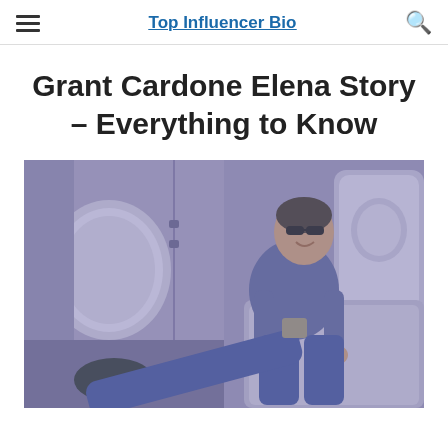Top Influencer Bio
Grant Cardone Elena Story – Everything to Know
[Figure (photo): Man in sunglasses and blue t-shirt sitting relaxed in a luxury private jet interior with plush white leather seats and oval windows]